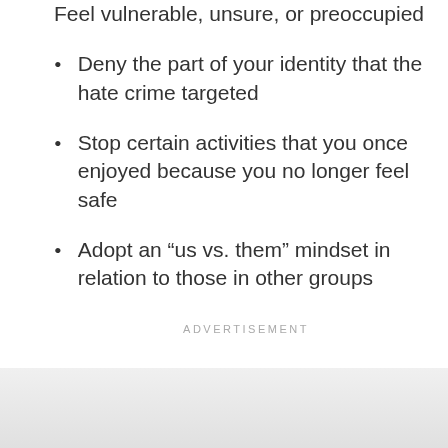Feel vulnerable, unsure, or preoccupied
Deny the part of your identity that the hate crime targeted
Stop certain activities that you once enjoyed because you no longer feel safe
Adopt an “us vs. them” mindset in relation to those in other groups
ADVERTISEMENT